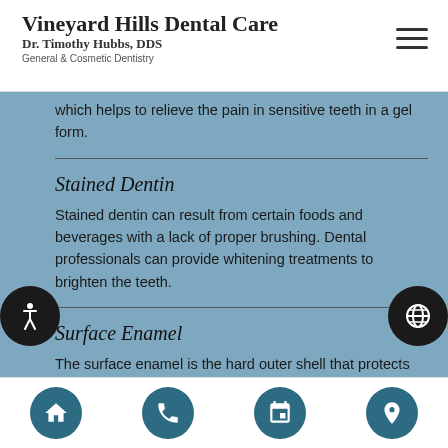Vineyard Hills Dental Care
Dr. Timothy Hubbs, DDS
General & Cosmetic Dentistry
which helps to relieve the pain in sensitive teeth in a gel form.
Stained Dentin
Stained dentin can result from certain foods and beverages with a lack of proper brushing. Dental professionals can provide whitening treatments to brighten the teeth.
Surface Enamel
The surface enamel is the hard outer shell that protects the dentin and pulp of the teeth. The